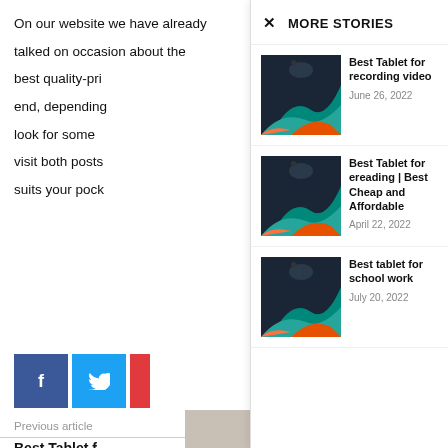On our website we have already talked on occasion about the best quality-pri end, depending look for some visit both posts suits your pock
[Figure (infographic): Facebook share button (blue), Twitter share button (light blue), and partial red button]
Previous article
Best Tablet f… viewing
MORE STORIES
[Figure (photo): Dark tablet device showing colorful abstract wallpaper]
Best Tablet for recording video
June 26, 2022
[Figure (photo): Dark tablet device showing colorful abstract wallpaper]
Best Tablet for ereading | Best Cheap and Affordable
April 22, 2022
[Figure (photo): Dark tablet device showing colorful abstract wallpaper]
Best tablet for school work
July 20, 2022
[Figure (photo): Partial image of two people at the bottom of the page]